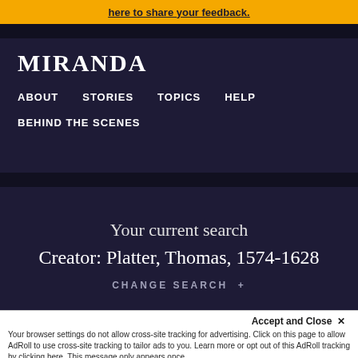here to share your feedback.
MIRANDA
ABOUT
STORIES
TOPICS
HELP
BEHIND THE SCENES
Your current search
Creator: Platter, Thomas, 1574-1628
CHANGE SEARCH +
Date range
Your browser settings do not allow cross-site tracking for advertising. Click on this page to allow AdRoll to use cross-site tracking to tailor ads to you. Learn more or opt out of this AdRoll tracking by clicking here. This message only appears once.